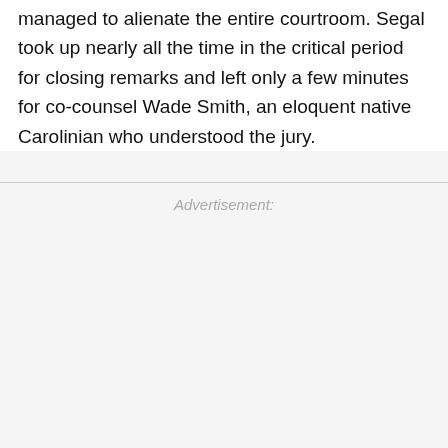managed to alienate the entire courtroom. Segal took up nearly all the time in the critical period for closing remarks and left only a few minutes for co-counsel Wade Smith, an eloquent native Carolinian who understood the jury.
Advertisement: